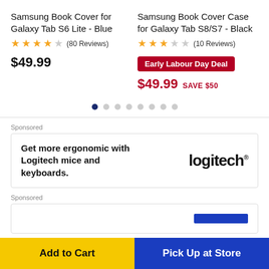Samsung Book Cover for Galaxy Tab S6 Lite - Blue
★★★★☆ (80 Reviews) $49.99
Samsung Book Cover Case for Galaxy Tab S8/S7 - Black
★★★☆☆ (10 Reviews) Early Labour Day Deal $49.99 SAVE $50
[Figure (other): Carousel pagination dots, 8 dots with first one active]
Sponsored
[Figure (other): Logitech sponsored advertisement: Get more ergonomic with Logitech mice and keyboards. Logitech logo.]
Sponsored
Add to Cart
Pick Up at Store